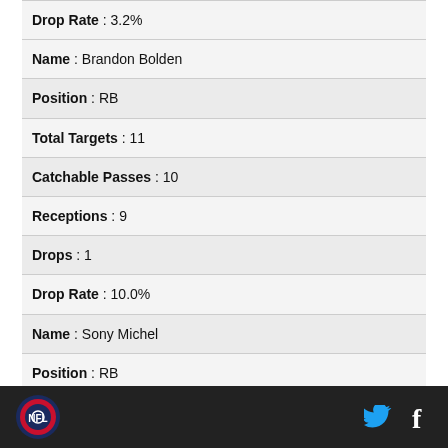| Drop Rate : 3.2% |
| Name : Brandon Bolden |
| Position : RB |
| Total Targets : 11 |
| Catchable Passes : 10 |
| Receptions : 9 |
| Drops : 1 |
| Drop Rate : 10.0% |
| Name : Sony Michel |
| Position : RB |
| Total Targets : 22 |
Logo | Twitter | Facebook